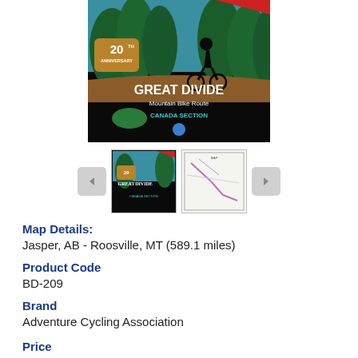[Figure (photo): Product cover image of Great Divide Mountain Bike Route Canada Section map, 20th Anniversary edition. Shows a silhouette of a cyclist against a green and teal forest background. Black cover with text 'GREAT DIVIDE Mountain Bike Route CANADA SECTION'.]
[Figure (photo): Thumbnail gallery with two product images: front cover thumbnail and map/route thumbnail, with left and right navigation arrows.]
Map Details:
Jasper, AB - Roosville, MT (589.1 miles)
Product Code
BD-209
Brand
Adventure Cycling Association
Price